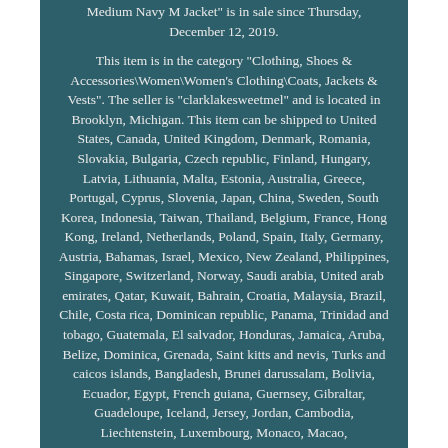Medium Navy M Jacket" is in sale since Thursday, December 12, 2019.
This item is in the category "Clothing, Shoes & Accessories\Women\Women's Clothing\Coats, Jackets & Vests". The seller is "clarklakesweetmel" and is located in Brooklyn, Michigan. This item can be shipped to United States, Canada, United Kingdom, Denmark, Romania, Slovakia, Bulgaria, Czech republic, Finland, Hungary, Latvia, Lithuania, Malta, Estonia, Australia, Greece, Portugal, Cyprus, Slovenia, Japan, China, Sweden, South Korea, Indonesia, Taiwan, Thailand, Belgium, France, Hong Kong, Ireland, Netherlands, Poland, Spain, Italy, Germany, Austria, Bahamas, Israel, Mexico, New Zealand, Philippines, Singapore, Switzerland, Norway, Saudi arabia, United arab emirates, Qatar, Kuwait, Bahrain, Croatia, Malaysia, Brazil, Chile, Costa rica, Dominican republic, Panama, Trinidad and tobago, Guatemala, El salvador, Honduras, Jamaica, Aruba, Belize, Dominica, Grenada, Saint kitts and nevis, Turks and caicos islands, Bangladesh, Brunei darussalam, Bolivia, Ecuador, Egypt, French guiana, Guernsey, Gibraltar, Guadeloupe, Iceland, Jersey, Jordan, Cambodia, Liechtenstein, Luxembourg, Monaco, Macao,